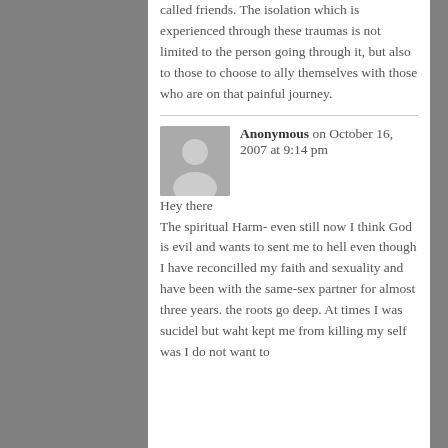called friends. The isolation which is experienced through these traumas is not limited to the person going through it, but also to those to choose to ally themselves with those who are on that painful journey.
Anonymous on October 16, 2007 at 9:14 pm
Hey there
The spiritual Harm- even still now I think God is evil and wants to sent me to hell even though I have reconcilled my faith and sexuality and have been with the same-sex partner for almost three years. the roots go deep. At times I was sucidel but waht kept me from killing my self was I do not want to